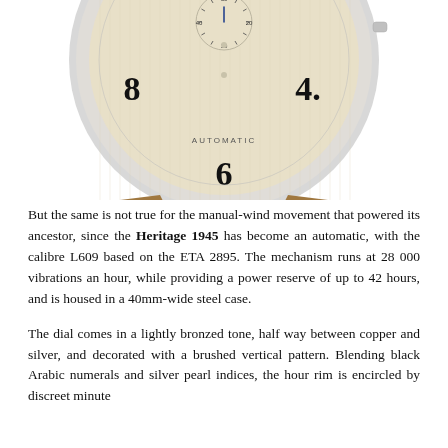[Figure (photo): Close-up photograph of a luxury watch showing the lower half of the case. The watch has a cream/beige dial with black Arabic numerals (8, 6, 4 visible), a small seconds subdial at 12 o'clock, blue hands, and the text AUTOMATIC on the dial. The watch sits on a tan/brown leather strap with stitching.]
But the same is not true for the manual-wind movement that powered its ancestor, since the Heritage 1945 has become an automatic, with the calibre L609 based on the ETA 2895. The mechanism runs at 28 000 vibrations an hour, while providing a power reserve of up to 42 hours, and is housed in a 40mm-wide steel case.
The dial comes in a lightly bronzed tone, half way between copper and silver, and decorated with a brushed vertical pattern. Blending black Arabic numerals and silver pearl indices, the hour rim is encircled by discreet minute